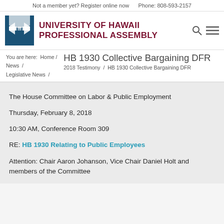Not a member yet? Register online now    Phone: 808-593-2157
[Figure (logo): University of Hawaii Professional Assembly logo — blue square with white ribbon/bow design]
University of Hawaii Professional Assembly
You are here:  Home /
News /
Legislative News /
HB 1930 Collective Bargaining DFR
2018 Testimony  /  HB 1930 Collective Bargaining DFR
The House Committee on Labor & Public Employment
Thursday, February 8, 2018
10:30 AM, Conference Room 309
RE: HB 1930 Relating to Public Employees
Attention: Chair Aaron Johanson, Vice Chair Daniel Holt and members of the Committee